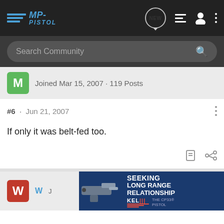MP-PISTOL forum navigation bar with logo, NEW bubble, list icon, user icon, and menu dots
Search Community
Joined Mar 15, 2007 · 119 Posts
#6 · Jun 21, 2007
If only it was belt-fed too.
Joined
[Figure (screenshot): Kel-Tec CP33 pistol advertisement banner: 'SEEKING LONG RANGE RELATIONSHIP – KEL TEC – THE CP33 PISTOL']